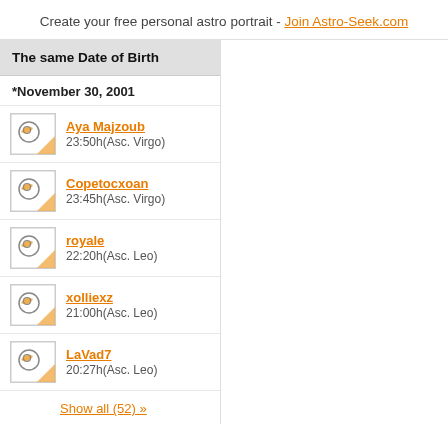Create your free personal astro portrait - Join Astro-Seek.com
The same Date of Birth
*November 30, 2001
Aya Majzoub
23:50h(Asc. Virgo)
Copetocxoan
23:45h(Asc. Virgo)
royale
22:20h(Asc. Leo)
xolliexz
21:00h(Asc. Leo)
LaVad7
20:27h(Asc. Leo)
Show all (52) »